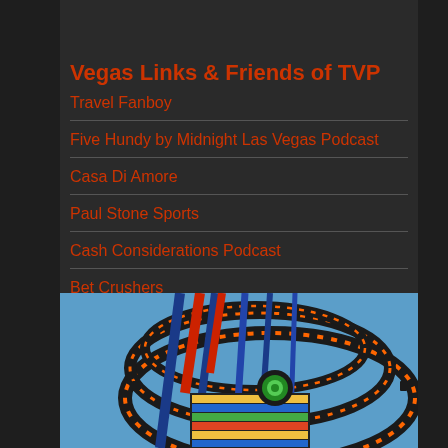Vegas Links & Friends of TVP
Travel Fanboy
Five Hundy by Midnight Las Vegas Podcast
Casa Di Amore
Paul Stone Sports
Cash Considerations Podcast
Bet Crushers
[Figure (photo): Close-up photo of a colorful carnival or amusement ride with film reel decoration, orange lights, red and blue metal structure, against a blue sky background]